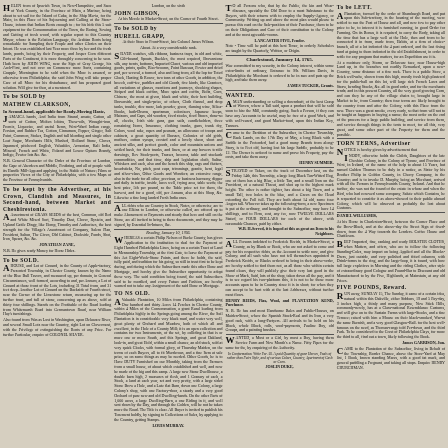Column 1: Various classified advertisements including notices for sales, rewards, and announcements in an 18th century newspaper format.
Column 2: Continued classified advertisements including items for sale, property notices, and public announcements.
Column 3: Further classified advertisements and public notices.
Column 4: Additional classified advertisements and public notices including strayed animals and wanted notices.